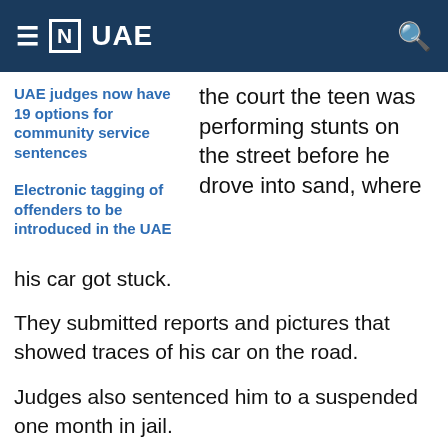≡ [N] UAE
UAE judges now have 19 options for community service sentences
Electronic tagging of offenders to be introduced in the UAE
the court the teen was performing stunts on the street before he drove into sand, where his car got stuck.
They submitted reports and pictures that showed traces of his car on the road.
Judges also sentenced him to a suspended one month in jail.
In its ruling, the court said it believes the boy will not repeat this offence.